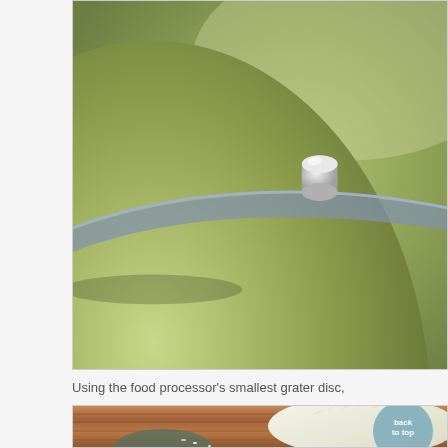[Figure (photo): Close-up photo of a green pot lid with a silver knob handle, sitting on a stovetop or kitchen surface.]
Using the food processor's smallest grater disc,
[Figure (photo): Photo of freshly grated white coconut on a wooden cutting board surface with a grater/food processor disc visible. A circular 'back to top' button overlay is visible in the lower right of the image.]